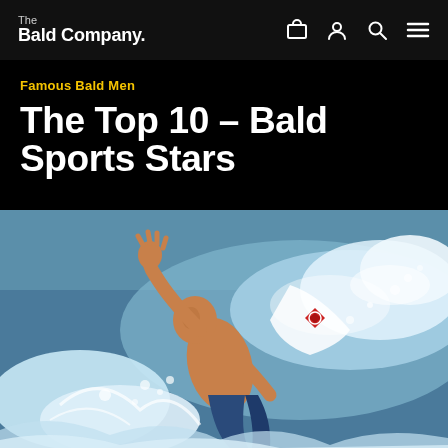The Bald Company.
Famous Bald Men
The Top 10 – Bald Sports Stars
[Figure (photo): A bald male surfer performing an aggressive maneuver on a wave, shirtless, with water splashing dramatically around him. A surfboard with a logo is visible in the background.]